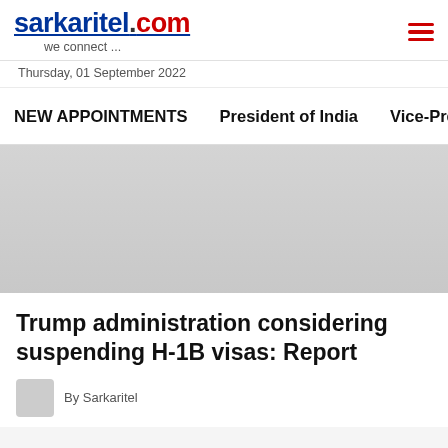sarkaritel.com — we connect ...
Thursday, 01 September 2022
NEW APPOINTMENTS   President of India   Vice-President of
[Figure (other): Gray advertisement placeholder area]
Trump administration considering suspending H-1B visas: Report
By Sarkaritel